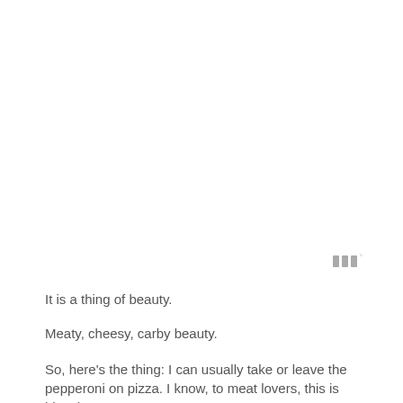[Figure (logo): Small logo mark consisting of three vertical bar shapes followed by a small superscript degree symbol, in light gray]
It is a thing of beauty.
Meaty, cheesy, carby beauty.
So, here’s the thing: I can usually take or leave the pepperoni on pizza. I know, to meat lovers, this is blasphemy.